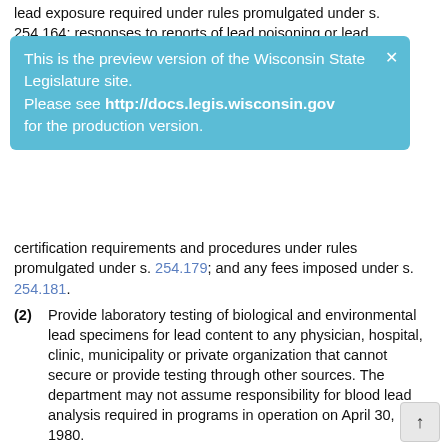lead exposure required under rules promulgated under s. 254.164; responses to reports of lead poisoning or lead
This is the preview version of the Wisconsin State Legislature site. Please see http://docs.legis.wisconsin.gov for the production version.
certification requirements and procedures under rules promulgated under s. 254.179; and any fees imposed under s. 254.181.
(2) Provide laboratory testing of biological and environmental lead specimens for lead content to any physician, hospital, clinic, municipality or private organization that cannot secure or provide testing through other sources. The department may not assume responsibility for blood lead analysis required in programs in operation on April 30, 1980.
(3) Develop or encourage the development of appropriate programs and studies to identify sources of lead poisoning or lead exposure, and assist other entities in the identification of lead in children's blood and of the sources of the lead poisoning or lead exposure.
(4) Provide technical assistance and consultation to local, county or regional governmental or private agencies to promote and develop lead poisoning or lead exposure prevention programs that afford opportunities for employing residents of communities and neighborhoods affected by lead poisoning